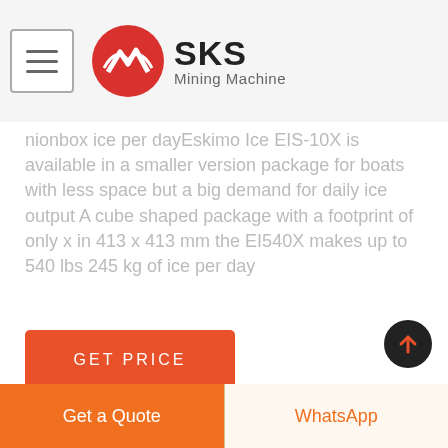SKS Mining Machine
nionbox ice per dayEskimo Ice EIS-10X is available in a smaller version package for boats with less space but a big demand for daily ice output A cube shaped package with a footprint of only x in 413 x 413 mm the EI540X makes up to 540 lbs 245 kg of ice per day
GET PRICE
[Figure (photo): Interior of a large industrial factory or warehouse with metal scaffolding, walkways, and structural steel framework]
Get a Quote
WhatsApp